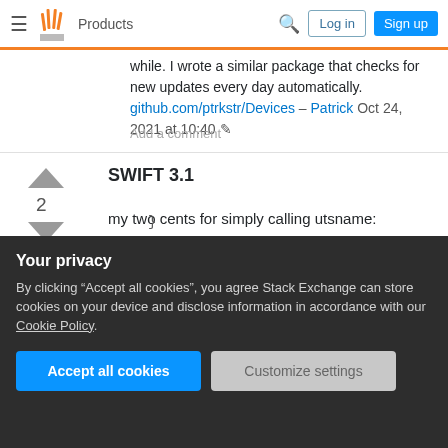≡  [Stack Overflow logo]  Products  🔍  Log in  Sign up
while. I wrote a similar package that checks for new updates every day automatically.
github.com/ptrkstr/Devices – Patrick Oct 24, 2021 at 10:40 ✏
Add a comment
SWIFT 3.1
my two cents for simply calling utsname:
[Figure (screenshot): Code block showing: func platform() -> String {]
Your privacy
By clicking "Accept all cookies", you agree Stack Exchange can store cookies on your device and disclose information in accordance with our Cookie Policy.
Accept all cookies  Customize settings